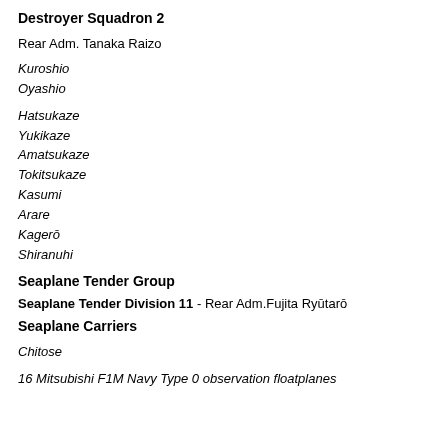Destroyer Squadron 2
Rear Adm. Tanaka Raizo
Kuroshio
Oyashio
Hatsukaze
Yukikaze
Amatsukaze
Tokitsukaze
Kasumi
Arare
Kagerō
Shiranuhi
Seaplane Tender Group
Seaplane Tender Division 11 - Rear Adm.Fujita Ryūtarō
Seaplane Carriers
Chitose
16 Mitsubishi F1M Navy Type 0 observation floatplanes